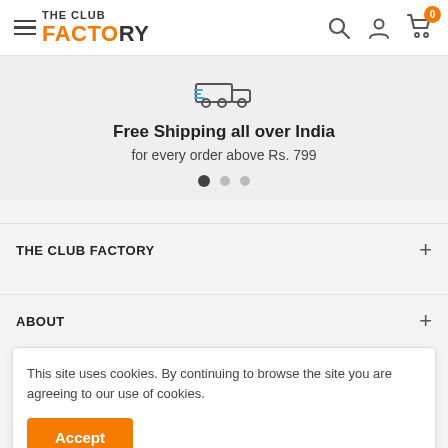[Figure (logo): The Club Factory logo with hamburger menu icon on the left and search, account, cart icons on the right]
[Figure (illustration): Delivery truck icon for free shipping promotion]
Free Shipping all over India
for every order above Rs. 799
THE CLUB FACTORY
ABOUT
This site uses cookies. By continuing to browse the site you are agreeing to our use of cookies.
Accept
NEWSLETTER